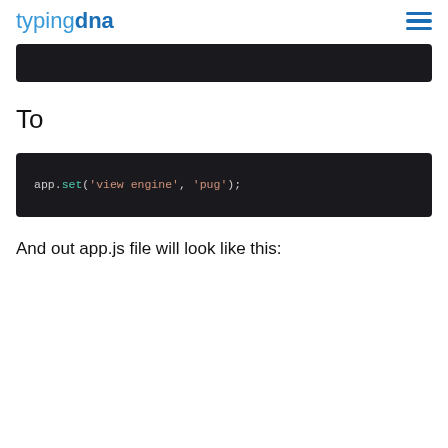typingdna
[Figure (screenshot): Dark code block (top, truncated) from previous section]
To
[Figure (screenshot): Dark code block showing: app.set('view engine', 'pug');]
And out app.js file will look like this: